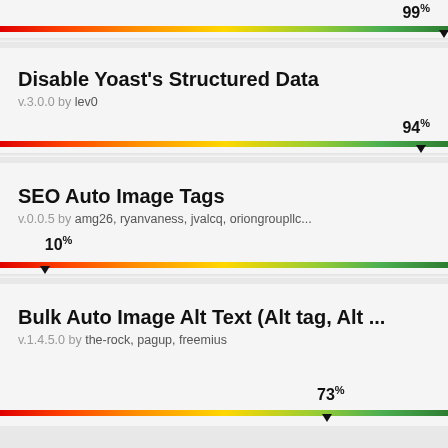[Figure (infographic): Rating bar at 99% for a plugin card (partially visible at top)]
Disable Yoast's Structured Data
v.3.0.0 by lev0
[Figure (infographic): Rating bar at 94% for Disable Yoast's Structured Data plugin]
SEO Auto Image Tags
v.0.0.5 by amg26, ryanvaness, jvalcq, oriongroupllc...
[Figure (infographic): Rating bar at 10% for SEO Auto Image Tags plugin]
Bulk Auto Image Alt Text (Alt tag, Alt ...
v.1.4.5.0 by the-rock, pagup, freemius
[Figure (infographic): Rating bar at 73% for Bulk Auto Image Alt Text plugin (partially visible at bottom)]